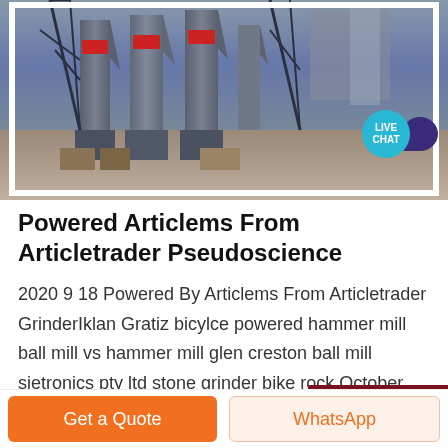[Figure (photo): Industrial facility with large metal silos/tanks and steel framework structures, outdoor photograph]
Powered Articlems From Articletrader Pseudoscience
2020 9 18 Powered By Articlems From Articletrader GrinderIklan Gratiz bicylce powered hammer mill ball mill vs hammer mill glen creston ball mill sietronics pty ltd stone grinder bike rock October 2013 Kusmayati Diterbitkan pada Friday 18 September 2020 Pukul 9